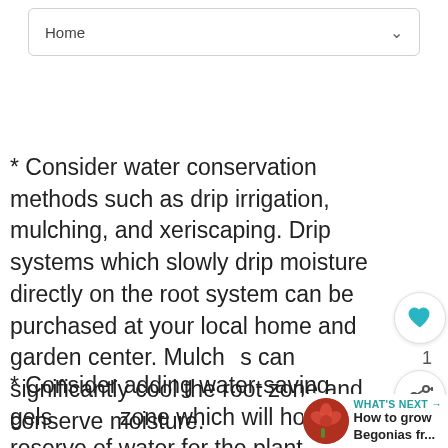Home
* Consider water conservation methods such as drip irrigation, mulching, and xeriscaping. Drip systems which slowly drip moisture directly on the root system can be purchased at your local home and garden center. Mulches can significantly cool the root zone and conserve moisture.
* Consider adding water-saving gels to the root zone which will hold a reserve of water for the plant. These can make a world of difference